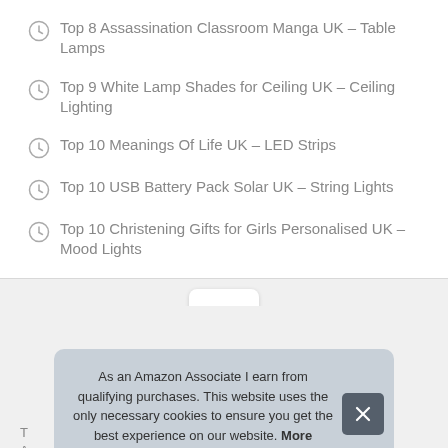Top 8 Assassination Classroom Manga UK – Table Lamps
Top 9 White Lamp Shades for Ceiling UK – Ceiling Lighting
Top 10 Meanings Of Life UK – LED Strips
Top 10 USB Battery Pack Solar UK – String Lights
Top 10 Christening Gifts for Girls Personalised UK – Mood Lights
[Figure (other): Scroll-to-top button with chevron up icon]
As an Amazon Associate I earn from qualifying purchases. This website uses the only necessary cookies to ensure you get the best experience on our website. More information
T... Ass... to provide a means for sites to earn advertising fees by